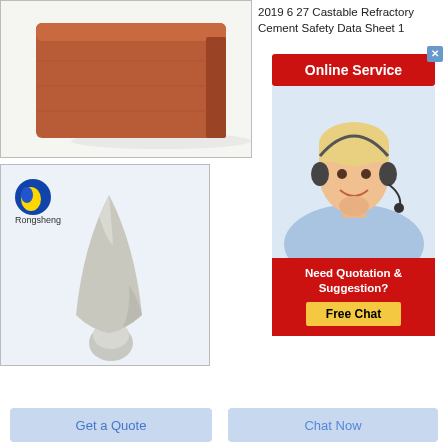[Figure (photo): Photo of a brown/terracotta refractory brick on a white background]
2019 6 27 Castable Refractory Cement Safety Data Sheet 1
[Figure (infographic): Online Service banner with red button, close X, and customer service agent photo with headset. Includes 'Need Quotation & Suggestion? Free Chat' section.]
[Figure (photo): Photo of grey/white refractory cement powder shaped into a mound/cone with a small ball at the bottom, with Rongsheng logo in top left corner]
Get a Quote
Chat Now